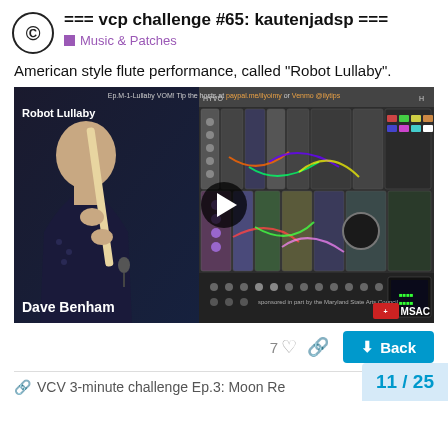=== vcp challenge #65: kautenjadsp ===
Music & Patches
American style flute performance, called "Robot Lullaby".
[Figure (screenshot): Video thumbnail showing 'Robot Lullaby' by Dave Benham — a person playing a flute on the left side, a modular synthesizer rack on the right side, with a play button in the center. Overlay text at top with tip/Venmo/paypal info. MSAC badge bottom right.]
7
Back
VCV 3-minute challenge Ep.3: Moon Re...
11 / 25